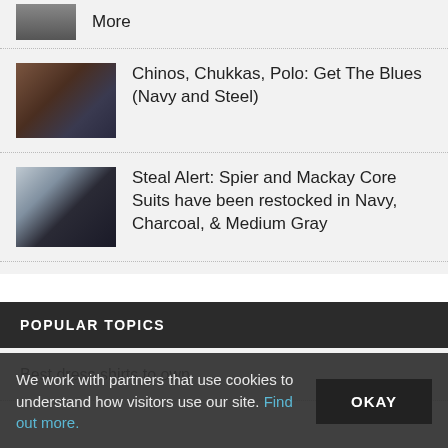More
Chinos, Chukkas, Polo: Get The Blues (Navy and Steel)
[Figure (photo): Brown chukka boots stacked on folded navy/steel blue trousers]
Steal Alert: Spier and Mackay Core Suits have been restocked in Navy, Charcoal, & Medium Gray
[Figure (photo): Navy suit jacket with white dress shirt and tie on mannequin]
POPULAR TOPICS
Best dress shirts to own
We work with partners that use cookies to understand how visitors use our site. Find out more.